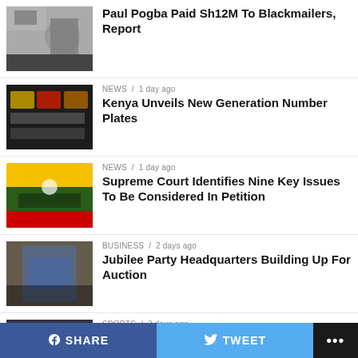Paul Pogba Paid Sh12M To Blackmailers, Report
NEWS / 1 day ago
Kenya Unveils New Generation Number Plates
NEWS / 1 day ago
Supreme Court Identifies Nine Key Issues To Be Considered In Petition
BUSINESS / 2 days ago
Jubilee Party Headquarters Building Up For Auction
SPORTS / 3 days ago
Paul Pogba's Brother Threatens To Reveal 'Explosive' Details About Ex Man
SHARE   TWEET   ...